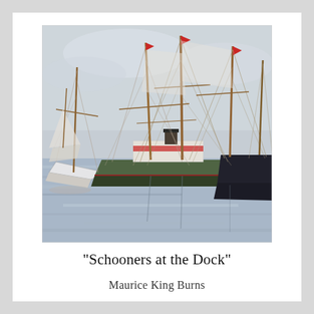[Figure (illustration): An impressionist oil painting of sailing schooners moored at a dock. Multiple tall-masted ships with furled sails and red pennant flags are shown reflected in calm harbor water. The color palette features muted blues, grays, greens, and warm browns. The painting style is loose and gestural.]
"Schooners at the Dock"
Maurice King Burns